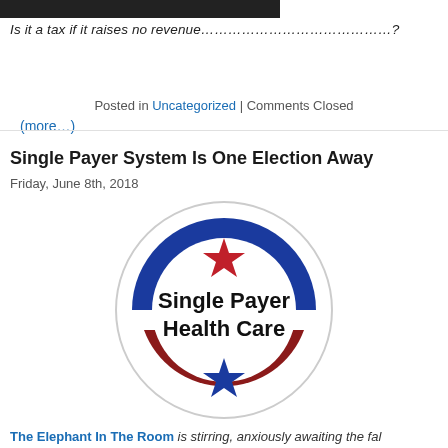[Figure (screenshot): Dark banner image at top of page]
Is it a tax if it raises no revenue…………………………………?
(more…)
Posted in Uncategorized | Comments Closed
Single Payer System Is One Election Away
Friday, June 8th, 2018
[Figure (logo): Single Payer Health Care circular logo with red and blue design and stars]
The Elephant In The Room is stirring, anxiously awaiting the fall season…………………………